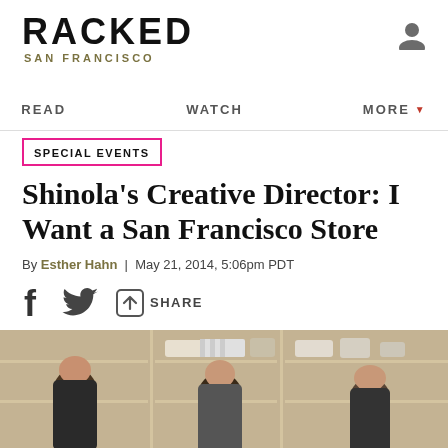RACKED SAN FRANCISCO
READ | WATCH | MORE
SPECIAL EVENTS
Shinola's Creative Director: I Want a San Francisco Store
By Esther Hahn | May 21, 2014, 5:06pm PDT
[Figure (photo): Social sharing icons: Facebook, Twitter, and Share button]
[Figure (photo): Photo of three men smiling inside a Shinola store with wooden shelving and merchandise in the background]